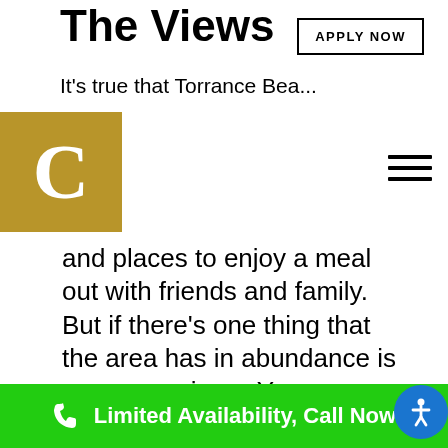The Views
It's true that Torrance Bea...
and places to enjoy a meal out with friends and family. But if there's one thing that the area has in abundance is gorgeous views. You can see all the way down the 40 acres of California coastline that make up Torrance Beach while visiting this area. Overlooking the Palos Verdes Peninsula, this beautiful region has some of the most
Limited Availability, Call Now